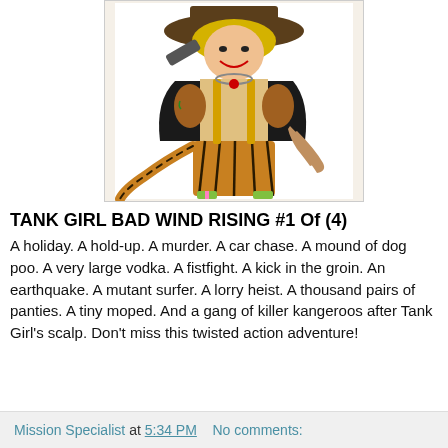[Figure (illustration): Comic book illustration of Tank Girl character — a wild-looking woman with blonde hair, pirate hat, animal print pants, claws, and weapons]
TANK GIRL BAD WIND RISING #1 Of (4)
A holiday. A hold-up. A murder. A car chase. A mound of dog poo. A very large vodka. A fistfight. A kick in the groin. An earthquake. A mutant surfer. A lorry heist. A thousand pairs of panties. A tiny moped. And a gang of killer kangeroos after Tank Girl's scalp. Don't miss this twisted action adventure!
Mission Specialist at 5:34 PM   No comments: